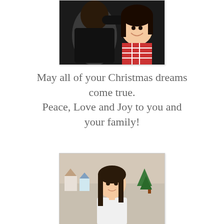[Figure (photo): Two people, appears to be two girls/women, one hugging the other from behind. One is wearing a red and white plaid outfit.]
May all of your Christmas dreams come true.
Peace, Love and Joy to you and your family!
[Figure (photo): A young girl with long dark hair standing in front of a Christmas village display with decorations.]